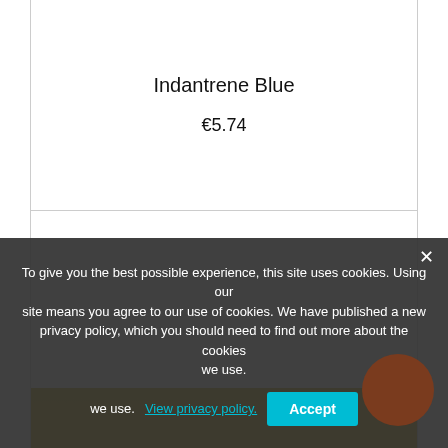Indantrene Blue
€5.74
[Figure (other): Product image area — bottom portion shows a yellow/gold colored paint swatch or product image]
To give you the best possible experience, this site uses cookies. Using our site means you agree to our use of cookies. We have published a new privacy policy, which you should need to find out more about the cookies we use. View privacy policy. Accept